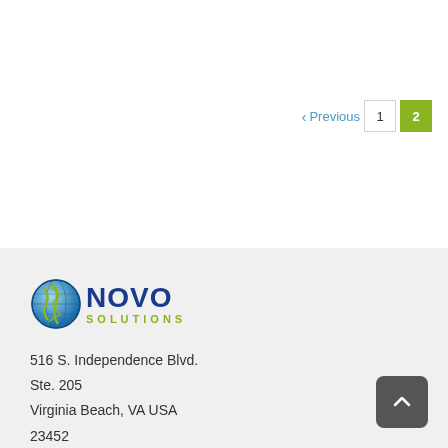< Previous  1  2
[Figure (logo): Novo Solutions logo with globe icon and company name]
516 S. Independence Blvd.
Ste. 205
Virginia Beach, VA USA
23452